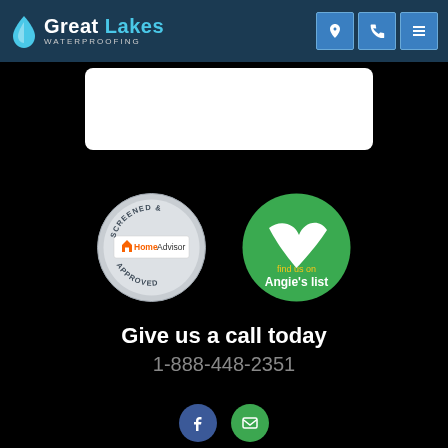[Figure (logo): Great Lakes Waterproofing logo with blue drop icon, white 'Great Lakes' text (Lakes in light blue) and 'WATERPROOFING' subtitle]
[Figure (other): Three blue square icon buttons: location pin, phone, and hamburger menu]
[Figure (other): White rounded rectangle content box]
[Figure (other): HomeAdvisor Screened & Approved badge (gray seal with orange HomeAdvisor branding) and Angie's List badge (green circle with white checkmark/arrow and gold 'find us on' text)]
Give us a call today
1-888-448-2351
[Figure (other): Facebook and email social media icons (blue circle and green circle)]